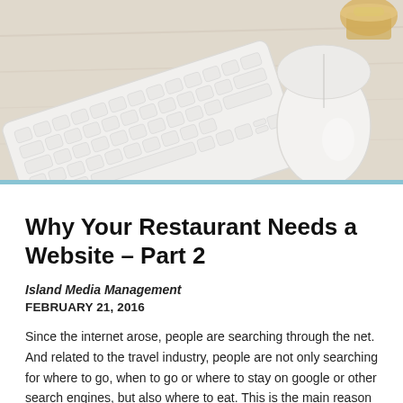[Figure (photo): Overhead shot of a white Apple keyboard and Magic Mouse on a light wood desk, with a golden object (candle or jar) in the upper right corner. Light, airy aesthetic.]
Why Your Restaurant Needs a Website – Part 2
Island Media Management
FEBRUARY 21, 2016
Since the internet arose, people are searching through the net. And related to the travel industry, people are not only searching for where to go, when to go or where to stay on google or other search engines, but also where to eat. This is the main reason why your food and beverage service businesses need a website. More Reasons Why: If you